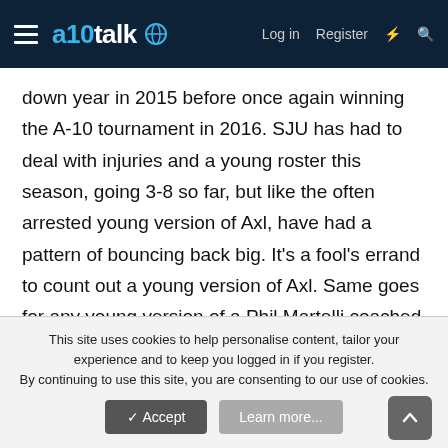a10talk — Log in Register
down year in 2015 before once again winning the A-10 tournament in 2016. SJU has had to deal with injuries and a young roster this season, going 3-8 so far, but like the often arrested young version of Axl, have had a pattern of bouncing back big. It's a fool's errand to count out a young version of Axl. Same goes for any young version of a Phil Martelli coached team.
SAINT LOUIS (8-16, 3-8): Rapidfire Axl, 1983
This site uses cookies to help personalise content, tailor your experience and to keep you logged in if you register.
By continuing to use this site, you are consenting to our use of cookies.